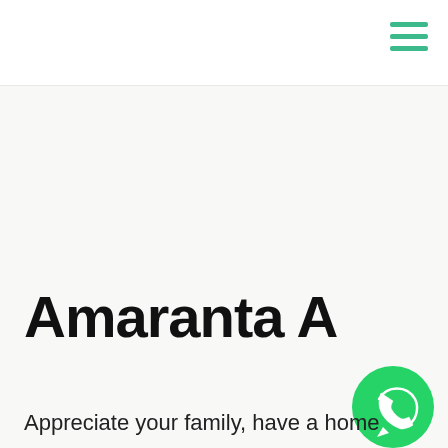[Figure (logo): Hamburger menu icon with three teal/green horizontal lines in top-right corner]
Amaranta A
Appreciate your family, have a home
[Figure (logo): WhatsApp green circular button with phone handset icon]